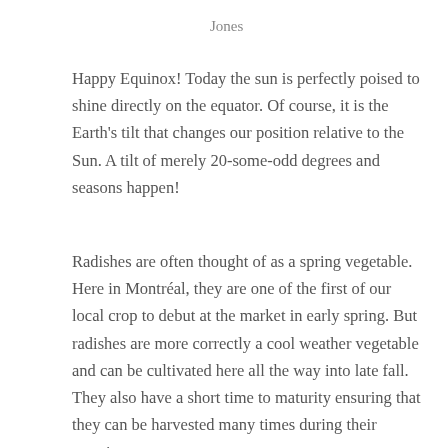Jones
Happy Equinox! Today the sun is perfectly poised to shine directly on the equator. Of course, it is the Earth's tilt that changes our position relative to the Sun. A tilt of merely 20-some-odd degrees and seasons happen!
Radishes are often thought of as a spring vegetable. Here in Montréal, they are one of the first of our local crop to debut at the market in early spring. But radishes are more correctly a cool weather vegetable and can be cultivated here all the way into late fall. They also have a short time to maturity ensuring that they can be harvested many times during their growing